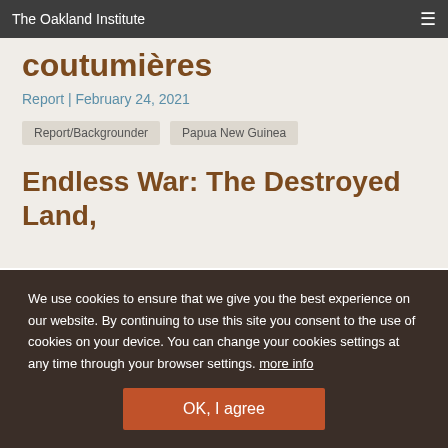The Oakland Institute
coutumières
Report | February 24, 2021
Report/Backgrounder
Papua New Guinea
Endless War: The Destroyed Land,
We use cookies to ensure that we give you the best experience on our website. By continuing to use this site you consent to the use of cookies on your device. You can change your cookies settings at any time through your browser settings. more info
OK, I agree